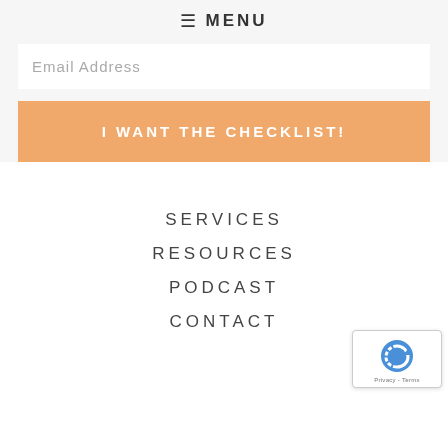≡ MENU
Email Address
I WANT THE CHECKLIST!
SERVICES
RESOURCES
PODCAST
CONTACT
[Figure (other): reCAPTCHA badge with Privacy - Terms text]